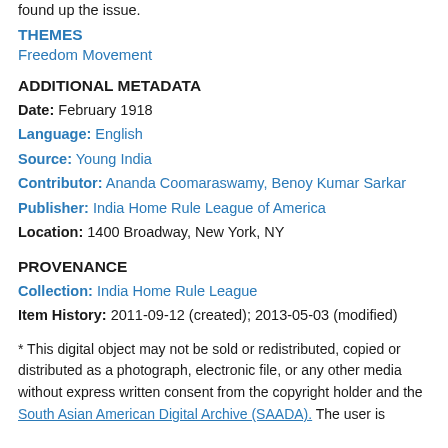found up the issue.
THEMES
Freedom Movement
ADDITIONAL METADATA
Date: February 1918
Language: English
Source: Young India
Contributor: Ananda Coomaraswamy, Benoy Kumar Sarkar
Publisher: India Home Rule League of America
Location: 1400 Broadway, New York, NY
PROVENANCE
Collection: India Home Rule League
Item History: 2011-09-12 (created); 2013-05-03 (modified)
* This digital object may not be sold or redistributed, copied or distributed as a photograph, electronic file, or any other media without express written consent from the copyright holder and the South Asian American Digital Archive (SAADA). The user is